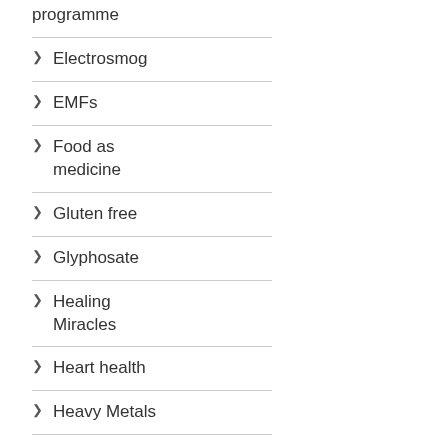programme
Electrosmog
EMFs
Food as medicine
Gluten free
Glyphosate
Healing Miracles
Heart health
Heavy Metals
Lyme Disease